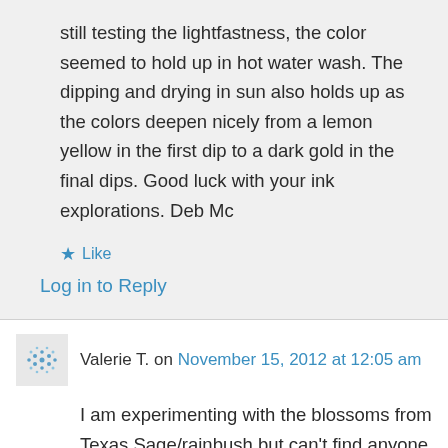still testing the lightfastness, the color seemed to hold up in hot water wash. The dipping and drying in sun also holds up as the colors deepen nicely from a lemon yellow in the first dip to a dark gold in the final dips. Good luck with your ink explorations. Deb Mc
★ Like
Log in to Reply
Valerie T. on November 15, 2012 at 12:05 am
I am experimenting with the blossoms from Texas Sage/rainbush but can't find anyone who has been able to set the lovely pinkish lavender